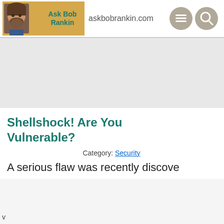[Figure (logo): Ask Bob Rankin logo with photo and yellow background text box]
askbobrankin.com
[Figure (infographic): Navigation icons: hamburger menu and search]
Shellshock! Are You Vulnerable?
Category: Security
A serious flaw was recently discove